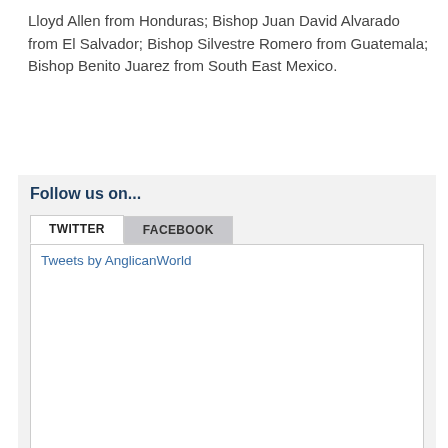Lloyd Allen from Honduras; Bishop Juan David Alvarado from El Salvador; Bishop Silvestre Romero from Guatemala; Bishop Benito Juarez from South East Mexico.
Follow us on...
[Figure (screenshot): Social media widget with TWITTER and FACEBOOK tabs. Twitter tab is active showing 'Tweets by AnglicanWorld' text in a white panel with border.]